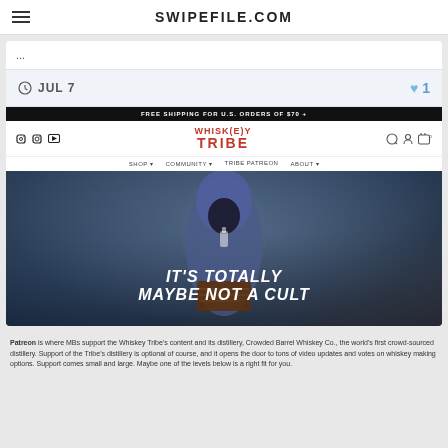SWIPEFILE.COM
...
JUL 7   ♥ 1
[Figure (screenshot): Screenshot of Whiskey Tribe website showing a hooded figure with smoke and text 'IT'S TOTALLY MAYBE NOT A CULT'. Website header shows FREE SHIPPING FOR U.S. ORDERS OF $70+, social media icons, navigation menu with SHOP, COMMUNITY, TRIBE PATREON, ABOUT.]
Patreon is where MBs support the Whiskey Tribe's content and its distillery, Crowded Barrel Whiskey Co., the world's first crowd-sourced distillery. Support of the Tribe's distillery is optional of course, and it opens the door to tons of video updates and votes on whiskey making options. Support comes small and large. Maybe one of the levels below is a right fit for you.